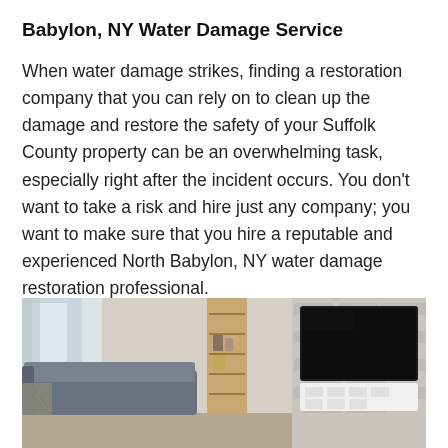Babylon, NY Water Damage Service
When water damage strikes, finding a restoration company that you can rely on to clean up the damage and restore the safety of your Suffolk County property can be an overwhelming task, especially right after the incident occurs. You don't want to take a risk and hire just any company; you want to make sure that you hire a reputable and experienced North Babylon, NY water damage restoration professional.
[Figure (photo): Interior living room with a gray sofa, wooden bookshelf, large flat-screen TV mounted on a white brick wall, and white TV cabinet with drawers.]